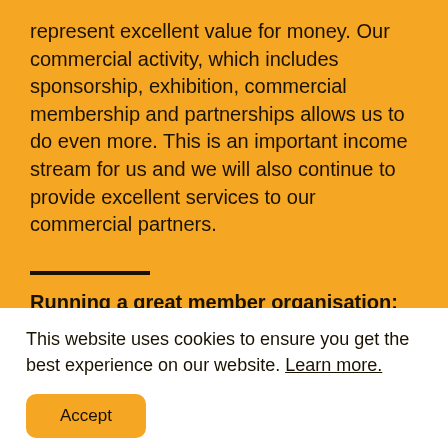represent excellent value for money. Our commercial activity, which includes sponsorship, exhibition, commercial membership and partnerships allows us to do even more. This is an important income stream for us and we will also continue to provide excellent services to our commercial partners.
Running a great member organisation:
Creating a more resourceful organisation that
This website uses cookies to ensure you get the best experience on our website. Learn more.
Accept